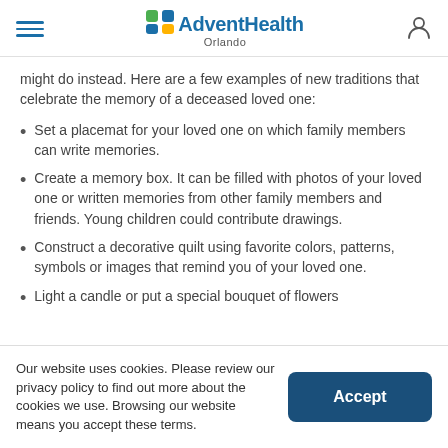AdventHealth Orlando
might do instead. Here are a few examples of new traditions that celebrate the memory of a deceased loved one:
Set a placemat for your loved one on which family members can write memories.
Create a memory box. It can be filled with photos of your loved one or written memories from other family members and friends. Young children could contribute drawings.
Construct a decorative quilt using favorite colors, patterns, symbols or images that remind you of your loved one.
Light a candle or put a special bouquet of flowers
Our website uses cookies. Please review our privacy policy to find out more about the cookies we use. Browsing our website means you accept these terms.